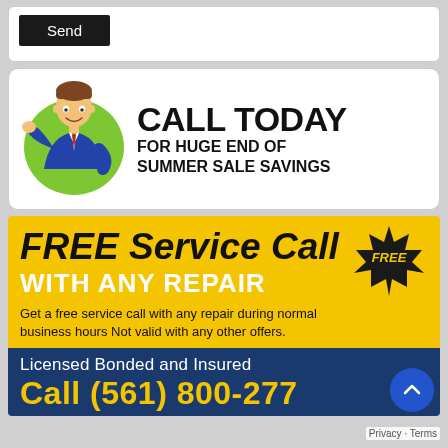Send
[Figure (illustration): Cartoon businessman mascot in a green circle gesturing with hand, wearing blue suit and red tie]
CALL TODAY FOR HUGE END OF SUMMER SALE SAVINGS
FREE Service Call WITH ANY REPAIR
Get a free service call with any repair during normal business hours Not valid with any other offers.
Licensed Bonded and Insured
Call (561) 800-277